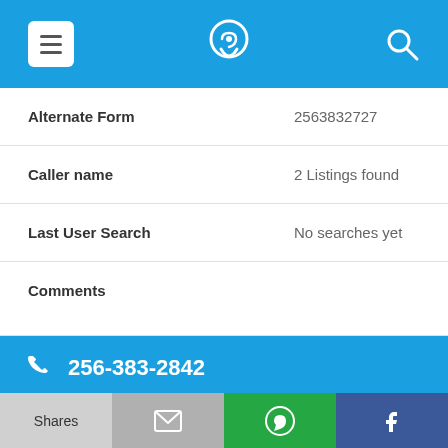[Figure (screenshot): Top navigation bar with hamburger menu icon, phone locator logo, and search icon on blue background]
| Alternate Form | 2563832727 |
| Caller name | 2 Listings found |
| Last User Search | No searches yet |
| Comments |  |
[Figure (screenshot): Blue phone call banner showing phone icon and number 256-383-2842]
| Alternate Form | 2563832842 |
| Caller |  |
[Figure (screenshot): Bottom share bar with: Shares (grey), email icon (grey), WhatsApp icon (green), Facebook icon (blue)]